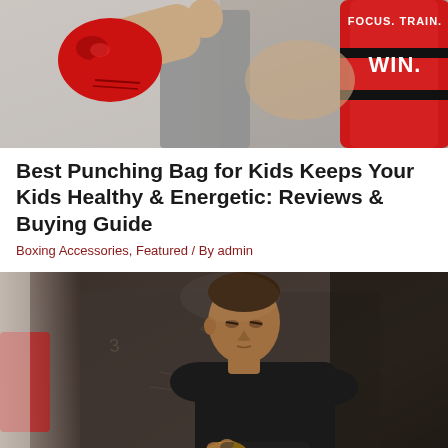[Figure (photo): A person in a gray tank top wearing red boxing gloves throwing a punch, with a red punching bag visible on the right showing text FOCUS. TRAIN. WIN.]
Best Punching Bag for Kids Keeps Your Kids Healthy & Energetic: Reviews & Buying Guide
Boxing Accessories, Featured / By admin
[Figure (photo): A young person with a shaved head wearing a black long-sleeve shirt, looking down while wrapping yellow hand wraps around their hands, standing in what appears to be a boxing gym.]